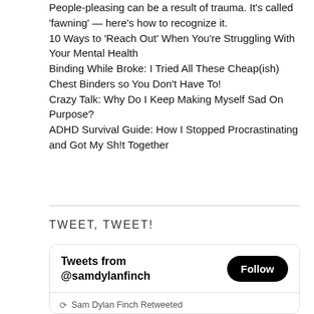People-pleasing can be a result of trauma. It's called 'fawning' — here's how to recognize it.
10 Ways to 'Reach Out' When You're Struggling With Your Mental Health
Binding While Broke: I Tried All These Cheap(ish) Chest Binders so You Don't Have To!
Crazy Talk: Why Do I Keep Making Myself Sad On Purpose?
ADHD Survival Guide: How I Stopped Procrastinating and Got My Sh!t Together
TWEET, TWEET!
[Figure (screenshot): Twitter widget showing 'Tweets from @samdylanfinch' with Follow button, and a retweet by Sam Dylan Finch of Matt Ortile (@ortile, 21h ago) saying 'JOB ALERT: @CatapultStory is hiring an editorial assistant to support our book']